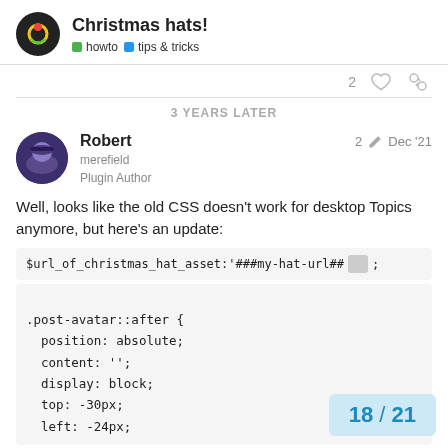Christmas hats! | howto | tips & tricks
2 ♡ 🔗
3 YEARS LATER
Robert
merefield
Plugin Author
2 ✏ Dec '21
Well, looks like the old CSS doesn't work for desktop Topics anymore, but here's an update:
$url_of_christmas_hat_asset:'###my-hat-url##
.post-avatar::after {
  position: absolute;
  content: '';
  display: block;
  top: -30px;
  left: -24px;